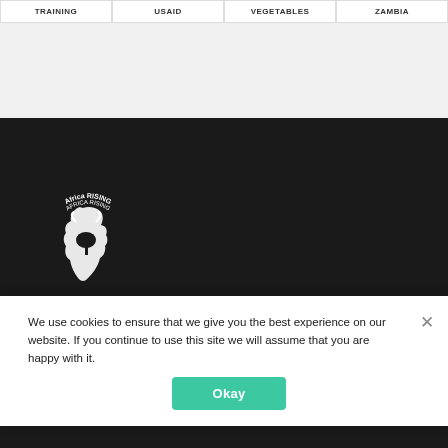| TRAINING | USAID | VEGETABLES | ZAMBIA |
| --- | --- | --- | --- |
[Figure (logo): Africa RISING logo — white silhouette of African continent with tree, cattle, and text 'Africa RISING' on a dark background]
Africa RISING | Africa Research In Sustainable Intensification for Next Generation
We use cookies to ensure that we give you the best experience on our website. If you continue to use this site we will assume that you are happy with it.